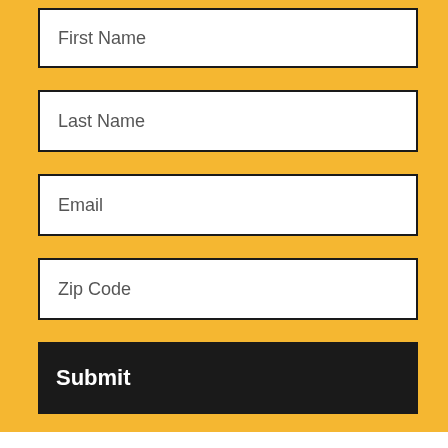[Figure (other): A web form on a yellow background with four text input fields (First Name, Last Name, Email, Zip Code) and a Submit button]
© Copyright 2022